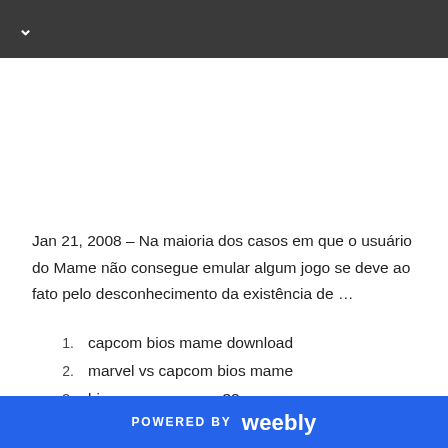Jan 21, 2008 – Na maioria dos casos em que o usuário do Mame não consegue emular algum jogo se deve ao fato pelo desconhecimento da existência de …
1. capcom bios mame download
2. marvel vs capcom bios mame
3. bios capcom mame32
Mar 8, 2021 – … bios mame 2003, bios mame 0.78, bios mame
POWERED BY weebly